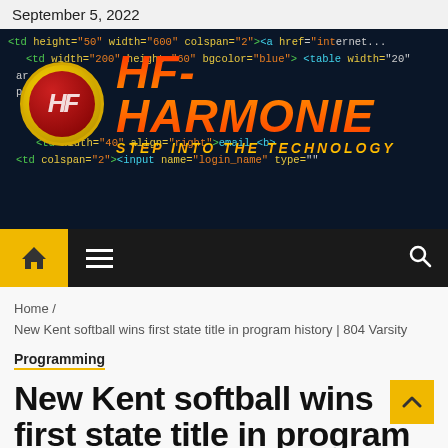September 5, 2022
[Figure (screenshot): HF-Harmonie website banner with code background showing HTML snippets, logo with red circular emblem and gold ring, site name 'HF-HARMONIE' in orange gradient text, tagline 'STEP INTO THE TECHNOLOGY' in gold text]
Home / New Kent softball wins first state title in program history | 804 Varsity
Programming
New Kent softball wins first state title in program history | 804 Varsity